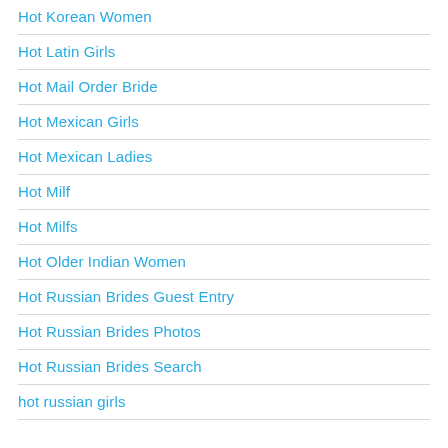Hot Korean Women
Hot Latin Girls
Hot Mail Order Bride
Hot Mexican Girls
Hot Mexican Ladies
Hot Milf
Hot Milfs
Hot Older Indian Women
Hot Russian Brides Guest Entry
Hot Russian Brides Photos
Hot Russian Brides Search
hot russian girls